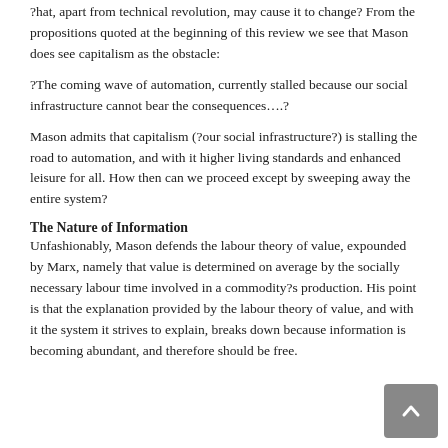?hat, apart from technical revolution, may cause it to change? From the propositions quoted at the beginning of this review we see that Mason does see capitalism as the obstacle:
?The coming wave of automation, currently stalled because our social infrastructure cannot bear the consequences….?
Mason admits that capitalism (?our social infrastructure?) is stalling the road to automation, and with it higher living standards and enhanced leisure for all. How then can we proceed except by sweeping away the entire system?
The Nature of Information
Unfashionably, Mason defends the labour theory of value, expounded by Marx, namely that value is determined on average by the socially necessary labour time involved in a commodity?s production. His point is that the explanation provided by the labour theory of value, and with it the system it strives to explain, breaks down because information is becoming abundant, and therefore should be free.